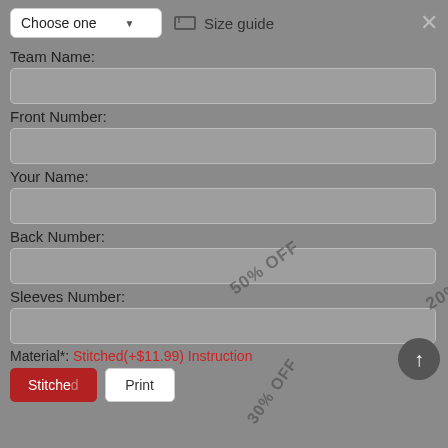[Figure (screenshot): Dropdown button labeled 'Choose one' with arrow, and a 'Size guide' link with icon]
Team Name:
[Figure (screenshot): Text input field for Team Name]
Front Number:
[Figure (screenshot): Text input field for Front Number with watermark overlays '50% OFF' and '20% OFF']
Your Name:
[Figure (screenshot): Text input field for Your Name with watermark 'Free Order' rotated]
Back Number:
[Figure (screenshot): Text input field for Back Number with watermark '5% OFF' rotated]
Sleeves Number:
[Figure (screenshot): Text input field for Sleeves Number with watermark '30% OFF' and '10% OFF']
Material*:  Stitched(+$11.99)  Instruction
[Figure (screenshot): Buttons: red 'Stitched' button and white 'Print' button at bottom]
[Figure (screenshot): Scroll-to-top circular button with upward arrow, bottom right]